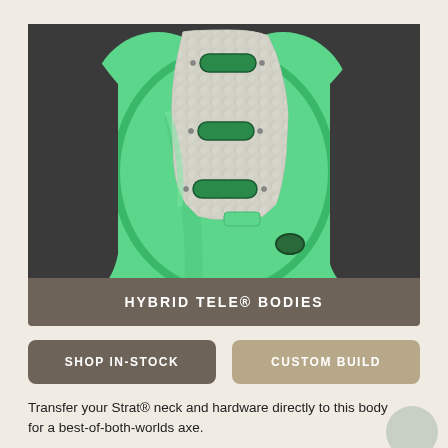[Figure (photo): Green Stratocaster-style electric guitar body with a pearl white pickguard showing three single-coil pickup slots, viewed from front, on a dark gray background.]
HYBRID TELE® BODIES
SHOP IN-STOCK
CUSTOM BUILD
Transfer your Strat® neck and hardware directly to this body for a best-of-both-worlds axe.